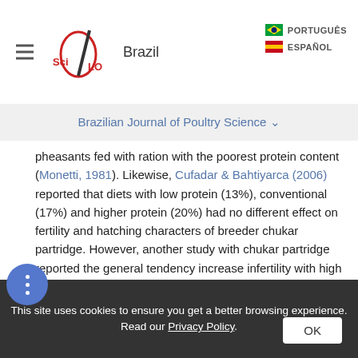SciELO Brazil — PORTUGUÊS / ESPAÑOL
Brazilian Journal of Poultry Science
pheasants fed with ration with the poorest protein content (Monetti, 1981). Likewise, Cufadar & Bahtiyarca (2006) reported that diets with low protein (13%), conventional (17%) and higher protein (20%) had no different effect on fertility and hatching characters of breeder chukar partridge. However, another study with chukar partridge reported the general tendency increase infertility with high protein levels (CP 17%), in contrary hatchability decreased under the same condition (Cufadar et al., 2010).
This site uses cookies to ensure you get a better browsing experience. Read our Privacy Policy.